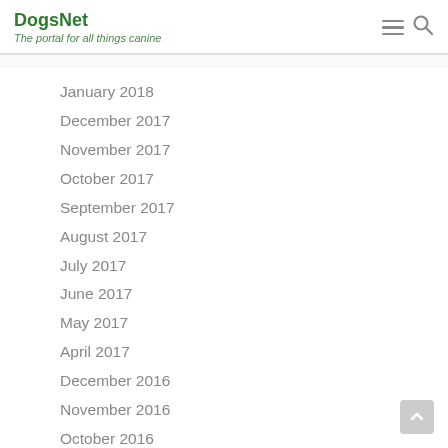DogsNet – The portal for all things canine
January 2018
December 2017
November 2017
October 2017
September 2017
August 2017
July 2017
June 2017
May 2017
April 2017
December 2016
November 2016
October 2016
September 2016
August 2016
July 2016
June 2016
May 2016
April 2016